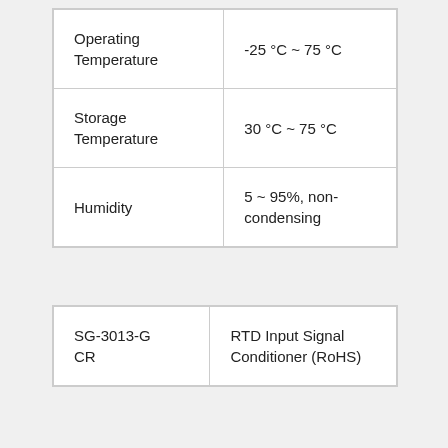| Operating Temperature | -25 °C ~ 75 °C |
| Storage Temperature | 30 °C ~ 75 °C |
| Humidity | 5 ~ 95%, non-condensing |
| SG-3013-G    CR | RTD Input Signal Conditioner (RoHS) |